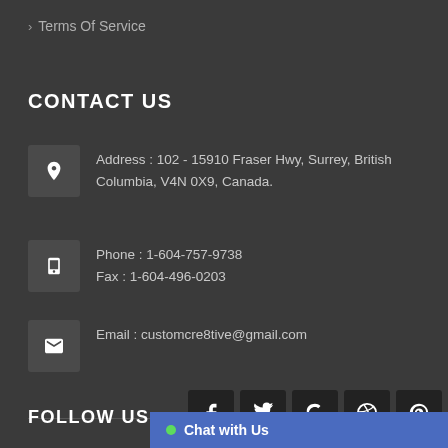> Terms Of Service
CONTACT US
Address : 102 - 15910 Fraser Hwy, Surrey, British Columbia, V4N 0X9, Canada.
Phone : 1-604-757-9738
Fax : 1-604-496-0203
Email : customcre8tive@gmail.com
Add image
FOLLOW US
Chat with Us